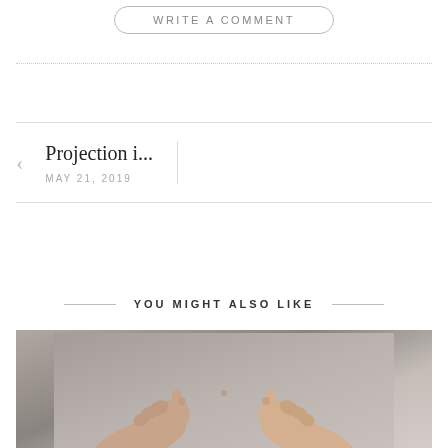WRITE A COMMENT
Projection i...
MAY 21, 2019
YOU MIGHT ALSO LIKE
[Figure (photo): Two hands with index fingers touching or pointing toward each other, photographed against a light gray background.]